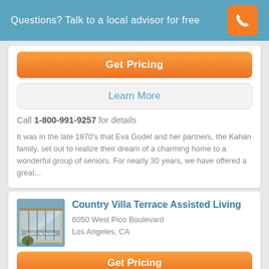Questions? Talk to a local advisor for free
Get Pricing
Learn More
Call 1-800-991-9257 for details
It was in the late 1970's that Eva Godel and her partners, the Kahan family, set out to realize their dream of a charming home to a wonderful group of seniors. For nearly 30 years, we have offered a great...
[Figure (photo): Exterior photo of Country Villa Terraces building with large glass windows]
Country Villa Terrace Assisted Living
6050 West Pico Boulevard
Los Angeles, CA
Get Pricing